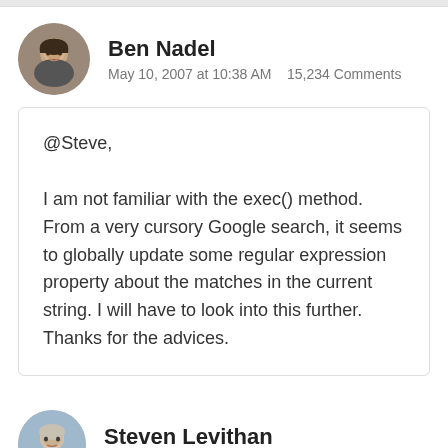[Figure (photo): Circular avatar photo of Ben Nadel, a man smiling]
Ben Nadel
May 10, 2007 at 10:38 AM   15,234 Comments
@Steve,

I am not familiar with the exec() method. From a very cursory Google search, it seems to globally update some regular expression property about the matches in the current string. I will have to look into this further. Thanks for the advices.
[Figure (photo): Circular avatar photo of Steven Levithan]
Steven Levithan